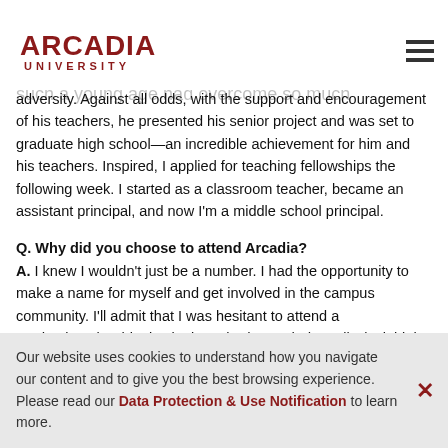Arcadia University
Philadelphia when I had the opportunity to … ts at a local high school. I’ll neve… t in particular, who at such a young age had overcome so much adversity. Against all odds, with the support and encouragement of his teachers, he presented his senior project and was set to graduate high school—an incredible achievement for him and his teachers. Inspired, I applied for teaching fellowships the following week. I started as a classroom teacher, became an assistant principal, and now I’m a middle school principal.
Q. Why did you choose to attend Arcadia?
A. I knew I wouldn’t just be a number. I had the opportunity to make a name for myself and get involved in the campus community. I’ll admit that I was hesitant to attend a predominantly white institution. I had attended an all-Black high school, and I feared descrimination and isolation, but Arcadia was life-changing in the best possible
Our website uses cookies to understand how you navigate our content and to give you the best browsing experience. Please read our Data Protection & Use Notification to learn more.